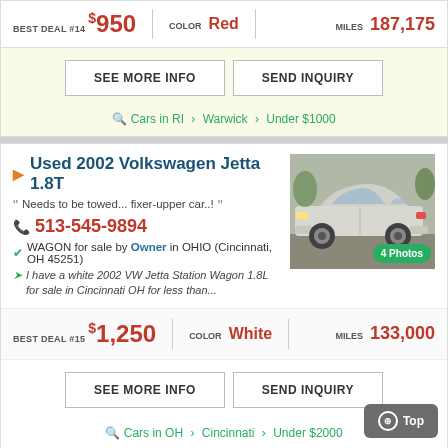BEST DEAL #14  $950  |  COLOR Red  |  MILES 187,175
SEE MORE INFO    SEND INQUIRY
Cars in RI > Warwick > Under $1000
Used 2002 Volkswagen Jetta 1.8T
Needs to be towed... fixer-upper car..!
513-545-9894
WAGON for sale by Owner in OHIO (Cincinnati, OH 45251)
I have a white 2002 VW Jetta Station Wagon 1.8L for sale in Cincinnati OH for less than...
[Figure (photo): White 2002 Volkswagen Jetta Station Wagon parked on a driveway, front 3/4 view]
BEST DEAL #15  $1,250  |  COLOR White  |  MILES 133,000
SEE MORE INFO    SEND INQUIRY
Cars in OH > Cincinnati > Under $2000